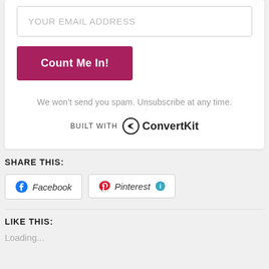YOUR EMAIL ADDRESS
Count Me In!
We won't send you spam. Unsubscribe at any time.
[Figure (logo): BUILT WITH ConvertKit logo]
SHARE THIS:
Facebook
Pinterest
LIKE THIS:
Loading...